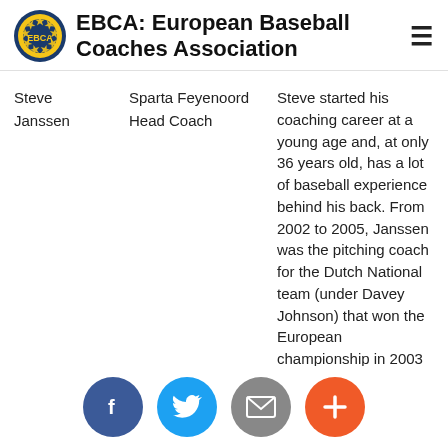EBCA: European Baseball Coaches Association
Steve Janssen
Sparta Feyenoord Head Coach
Steve started his coaching career at a young age and, at only 36 years old, has a lot of baseball experience behind his back. From 2002 to 2005, Janssen was the pitching coach for the Dutch National team (under Davey Johnson) that won the European championship in 2003 and 2005 and reached
[Figure (other): Social share buttons: Facebook, Twitter, Email, Plus]